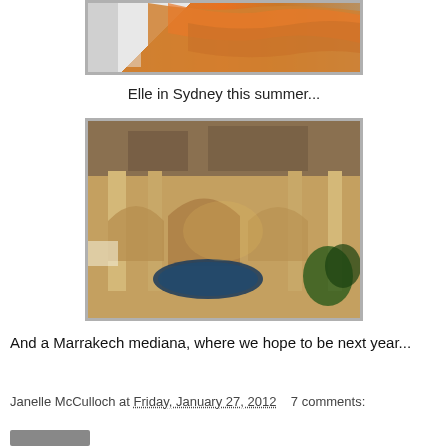[Figure (photo): Partial view of orange draped fabric or garment, cropped at top]
Elle in Sydney this summer...
[Figure (photo): Interior courtyard of a Marrakech medina/riad with arched architecture, warm lighting, a small pool, and tropical plants]
And a Marrakech mediana, where we hope to be next year...
Janelle McCulloch at Friday, January 27, 2012    7 comments: